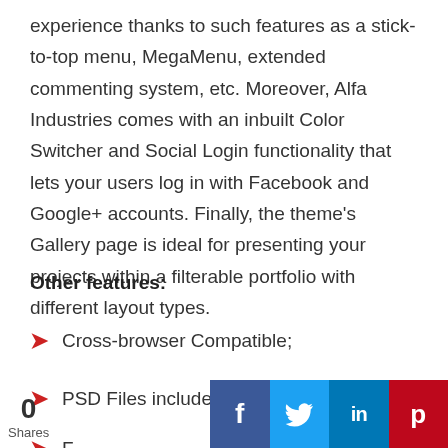experience thanks to such features as a stick-to-top menu, MegaMenu, extended commenting system, etc. Moreover, Alfa Industries comes with an inbuilt Color Switcher and Social Login functionality that lets your users log in with Facebook and Google+ accounts. Finally, the theme's Gallery page is ideal for presenting your projects within a filterable portfolio with different layout types.
Other features:
Cross-browser Compatible;
PSD Files included;
F…
0 Shares  [Facebook] [Twitter] [LinkedIn] [Pinterest]